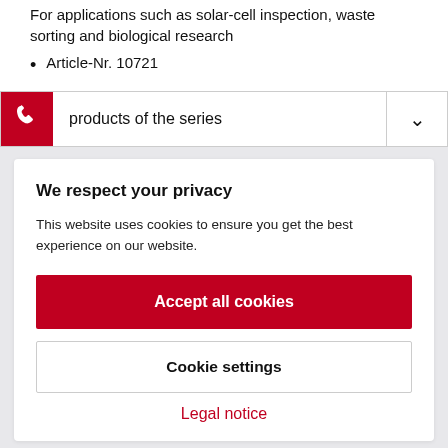For applications such as solar-cell inspection, waste sorting and biological research
Article-Nr. 10721
products of the series
We respect your privacy
This website uses cookies to ensure you get the best experience on our website.
Accept all cookies
Cookie settings
Legal notice